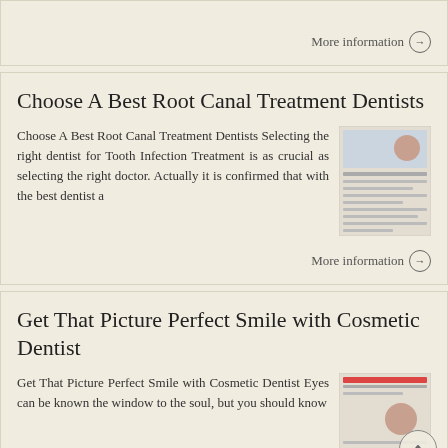More information →
Choose A Best Root Canal Treatment Dentists
Choose A Best Root Canal Treatment Dentists Selecting the right dentist for Tooth Infection Treatment is as crucial as selecting the right doctor. Actually it is confirmed that with the best dentist a
[Figure (screenshot): Thumbnail image of article about Choose A Best Root Canal Treatment Dentists]
More information →
Get That Picture Perfect Smile with Cosmetic Dentist
Get That Picture Perfect Smile with Cosmetic Dentist Eyes can be known the window to the soul, but you should know
[Figure (screenshot): Thumbnail image of article about Get That Picture Perfect Smile with Cosmetic Dentist]